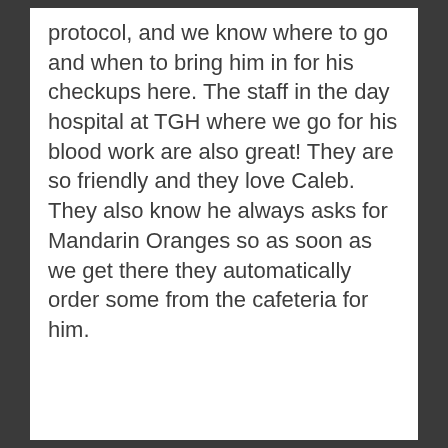protocol, and we know where to go and when to bring him in for his checkups here. The staff in the day hospital at TGH where we go for his blood work are also great! They are so friendly and they love Caleb. They also know he always asks for Mandarin Oranges so as soon as we get there they automatically order some from the cafeteria for him.